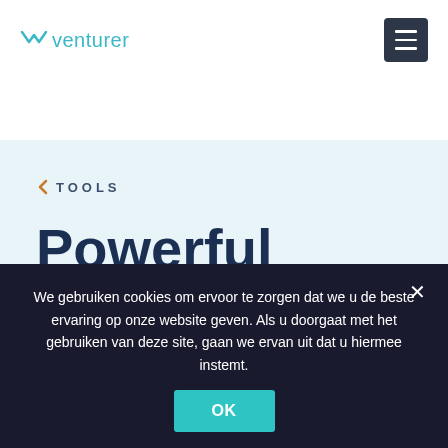venturer
TOOLS
Powerful Tools For Online
We gebruiken cookies om ervoor te zorgen dat we u de beste ervaring op onze website geven. Als u doorgaat met het gebruiken van deze site, gaan we ervan uit dat u hiermee instemt.
OK